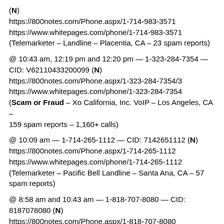(N)
https://800notes.com/Phone.aspx/1-714-983-3571
https://www.whitepages.com/phone/1-714-983-3571
(Telemarketer – Landline – Placentia, CA – 23 spam reports)
@ 10:43 am, 12:19 pm and 12:20 pm — 1-323-284-7354 — CID: V62110433200099 (N)
https://800notes.com/Phone.aspx/1-323-284-7354/3
https://www.whitepages.com/phone/1-323-284-7354
(Scam or Fraud – Xo California, Inc. VoIP – Los Angeles, CA – 159 spam reports – 1,160+ calls)
@ 10:09 am — 1-714-265-1112 — CID: 7142651112 (N)
https://800notes.com/Phone.aspx/1-714-265-1112
https://www.whitepages.com/phone/1-714-265-1112
(Telemarketer – Pacific Bell Landline – Santa Ana, CA – 57 spam reports)
@ 8:58 am and 10:43 am — 1-818-707-8080 — CID: 8187078080 (N)
https://800notes.com/Phone.aspx/1-818-707-8080